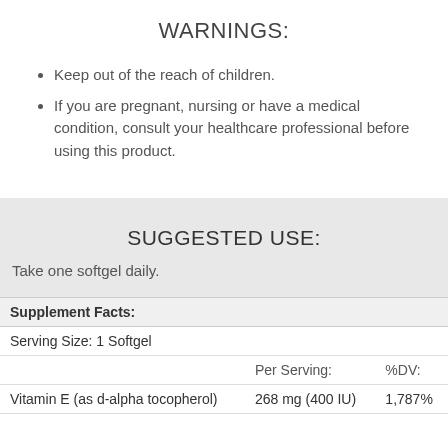WARNINGS:
Keep out of the reach of children.
If you are pregnant, nursing or have a medical condition, consult your healthcare professional before using this product.
SUGGESTED USE:
Take one softgel daily.
|  | Per Serving: | %DV: |
| --- | --- | --- |
| Supplement Facts: |  |  |
| Serving Size: 1 Softgel |  |  |
| Vitamin E (as d-alpha tocopherol) | 268 mg (400 IU) | 1,787% |